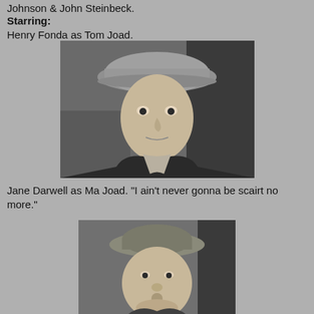Johnson & John Steinbeck.
Starring:
Henry Fonda as Tom Joad.
[Figure (photo): Black and white still photo of Henry Fonda as Tom Joad wearing a flat cap, looking intensely at the camera]
Jane Darwell as Ma Joad. "I ain't never gonna be scairt no more."
[Figure (photo): Black and white still photo of Jane Darwell as Ma Joad wearing a bonnet hat, looking upward with a serious expression]